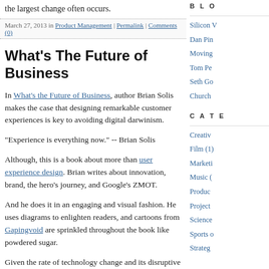the largest change often occurs.
March 27, 2013 in Product Management | Permalink | Comments (0)
What's The Future of Business
In What's the Future of Business, author Brian Solis makes the case that designing remarkable customer experiences is key to avoiding digital darwinism.
"Experience is everything now." -- Brian Solis
Although, this is a book about more than user experience design. Brian writes about innovation, brand, the hero's journey, and Google's ZMOT.
And he does it in an engaging and visual fashion. He uses diagrams to enlighten readers, and cartoons from Gapingvoid are sprinkled throughout the book like powdered sugar.
Given the rate of technology change and its disruptive nature, Brian uses case studies to show concepts in action.
I enjoyed the Burberry case story. Here's a company that has been around since 1856. To survive for 150 years in the competitive retail space requires constant innovation.
B L O
Silicon V
Dan Pin
Moving
Tom Pe
Seth Go
Church
C A T E
Creativ
Film (1)
Marketi
Music (
Produc
Project
Science
Sports o
Strateg